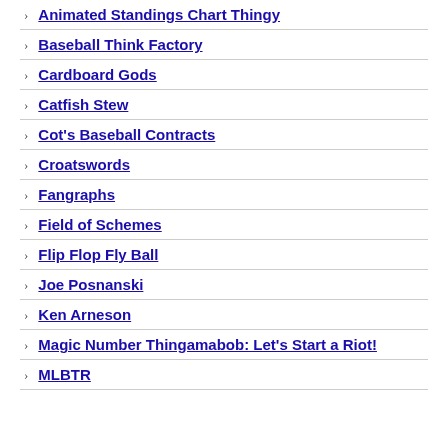Animated Standings Chart Thingy
Baseball Think Factory
Cardboard Gods
Catfish Stew
Cot's Baseball Contracts
Croatswords
Fangraphs
Field of Schemes
Flip Flop Fly Ball
Joe Posnanski
Ken Arneson
Magic Number Thingamabob: Let's Start a Riot!
MLBTR